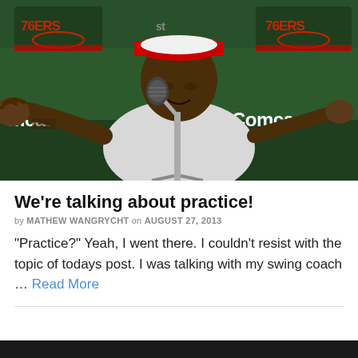[Figure (photo): Press conference photo of a man in a white shirt and red/white cap gesturing toward camera with both hands, speaking into a microphone. Background shows Philadelphia 76ers and Comcast branding on a green backdrop.]
We're talking about practice!
by MATHEW WANGRYCHT on AUGUST 27, 2013
“Practice?” Yeah, I went there. I couldn’t resist with the topic of todays post. I was talking with my swing coach ... Read More